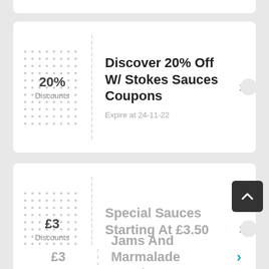20% Discounts
Discover 20% Off W/ Stokes Sauces Coupons
Expire at 24-11-22
£3 Discounts
Special Sauces Starting At £3.50
Expire at 19-8-22
£3
Jams And Marmalade Starting At £3.95